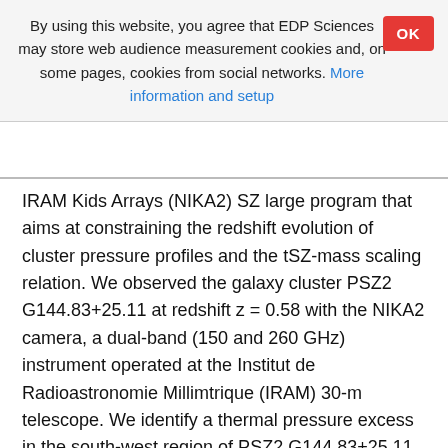By using this website, you agree that EDP Sciences may store web audience measurement cookies and, on some pages, cookies from social networks. More information and setup
IRAM Kids Arrays (NIKA2) SZ large program that aims at constraining the redshift evolution of cluster pressure profiles and the tSZ-mass scaling relation. We observed the galaxy cluster PSZ2 G144.83+25.11 at redshift z = 0.58 with the NIKA2 camera, a dual-band (150 and 260 GHz) instrument operated at the Institut de Radioastronomie Millimtrique (IRAM) 30-m telescope. We identify a thermal pressure excess in the south-west region of PSZ2 G144.83+25.11 and a high-redshift sub-millimeter point source that affect the intracluster medium (ICM) morphology of the cluster. The NIKA2 data are used jointly with tSZ data acquired by the Multiplexed SQUID/TES Array at Ninety Gigahertz (MUSTANG). Rel...